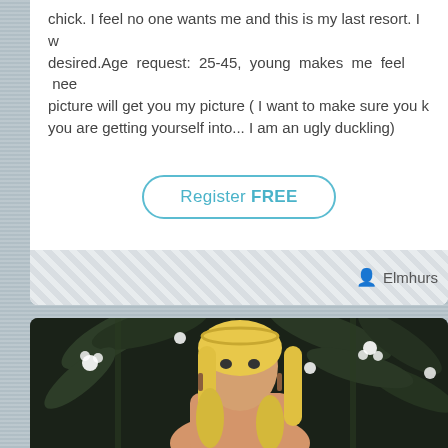chick. I feel no one wants me and this is my last resort. I w desired.Age  request:  25-45,  young  makes  me  feel  nee picture will get you my picture ( I want to make sure you k you are getting yourself into... I am an ugly duckling)
Register FREE
Elmhurs
[Figure (photo): A blonde woman wearing a floral headband, looking at the camera, with a dark floral background featuring bamboo and white flowers.]